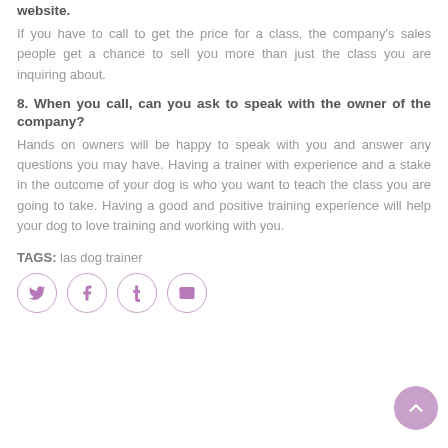website.
If you have to call to get the price for a class, the company’s sales people get a chance to sell you more than just the class you are inquiring about.
8. When you call, can you ask to speak with the owner of the company?
Hands on owners will be happy to speak with you and answer any questions you may have. Having a trainer with experience and a stake in the outcome of your dog is who you want to teach the class you are going to take. Having a good and positive training experience will help your dog to love training and working with you.
TAGS: las dog trainer
[Figure (other): Social sharing icons: Twitter, Facebook, Tumblr, Email (circular outline buttons) and a scroll-to-top button]